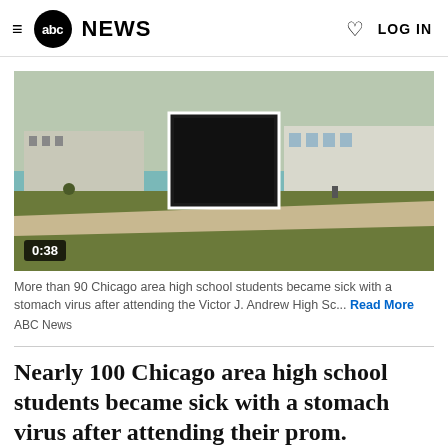abc NEWS  LOG IN
[Figure (screenshot): Video thumbnail showing a lakefront park scene in Chicago with a dark play-button overlay square in the center. Timer shows 0:38 in bottom left corner.]
More than 90 Chicago area high school students became sick with a stomach virus after attending the Victor J. Andrew High Sc... Read More
ABC News
Nearly 100 Chicago area high school students became sick with a stomach virus after attending their prom.